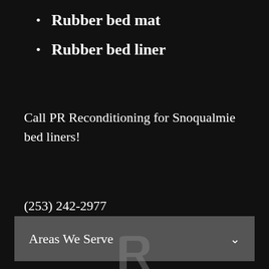Rubber bed mat
Rubber bed liner
Call PR Reconditioning for Snoqualmie bed liners!
(253) 242-2977
Areas We Serve